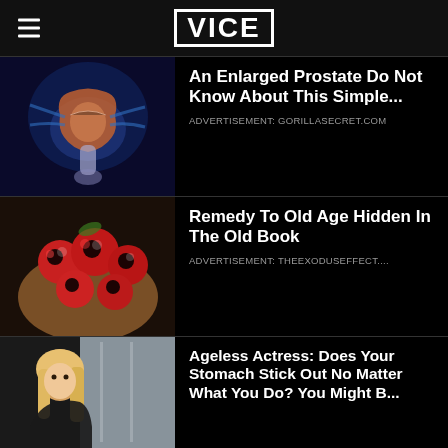VICE
[Figure (photo): Medical illustration of the prostate gland, anatomical cross-section in blue and orange tones]
An Enlarged Prostate Do Not Know About This Simple...
ADVERTISEMENT: GORILLASECRET.COM
[Figure (photo): Hands holding red and black seeds or berries clustered together]
Remedy To Old Age Hidden In The Old Book
ADVERTISEMENT: THEEXODUSEFFECT....
[Figure (photo): Young blonde woman in indoor setting]
Ageless Actress: Does Your Stomach Stick Out No Matter What You Do? You Might B...